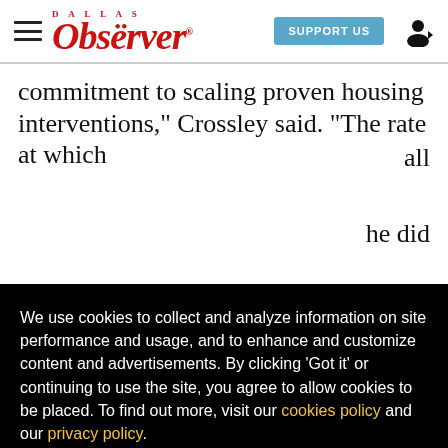Dallas Observer — SUPPORT US
commitment to scaling proven housing interventions," Crossley said. "The rate at which all he did es, re sobering center at the Hampton
We use cookies to collect and analyze information on site performance and usage, and to enhance and customize content and advertisements. By clicking 'Got it' or continuing to use the site, you agree to allow cookies to be placed. To find out more, visit our cookies policy and our privacy policy.
Got it!